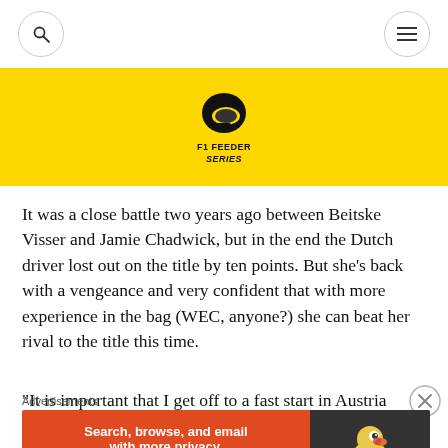[Figure (logo): F1 Feeder Series logo — racing helmet icon with F1 FEEDER SERIES text in black on yellow background]
It was a close battle two years ago between Beitske Visser and Jamie Chadwick, but in the end the Dutch driver lost out on the title by ten points. But she’s back with a vengeance and very confident that with more experience in the bag (WEC, anyone?) she can beat her rival to the title this time.
“It is important that I get off to a fast start in Austria
[Figure (screenshot): DuckDuckGo advertisement banner: orange/red background with text 'Search, browse, and email with more privacy. All in One Free App' and DuckDuckGo duck logo on dark right panel]